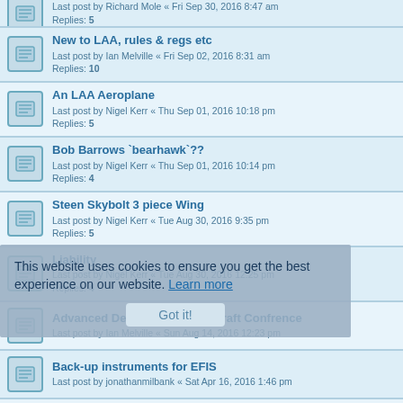Last post by Richard Mole « Fri Sep 30, 2016 8:47 am
Replies: 5
New to LAA, rules & regs etc
Last post by Ian Melville « Fri Sep 02, 2016 8:31 am
Replies: 10
An LAA Aeroplane
Last post by Nigel Kerr « Thu Sep 01, 2016 10:18 pm
Replies: 5
Bob Barrows `bearhawk`??
Last post by Nigel Kerr « Thu Sep 01, 2016 10:14 pm
Replies: 4
Steen Skybolt 3 piece Wing
Last post by Nigel Kerr « Tue Aug 30, 2016 9:35 pm
Replies: 5
Liability
Last post by Nigel Kerr « Tue Aug 30, 2016 12:25 pm
Replies: 4
Advanced Design of Light Aircraft Confrence
Last post by Ian Melville « Sun Aug 14, 2016 12:23 pm
Back-up instruments for EFIS
Last post by jonathanmilbank « Sat Apr 16, 2016 1:46 pm
Brandli Cherry drawings wanted
Last post by G.Dawes « Fri Mar 25, 2016 12:33 am
Replies: 1
Gyroplanes
Last post by uksparky1972 « Wed Feb 03, 2016 11:40 pm
Replies: 5